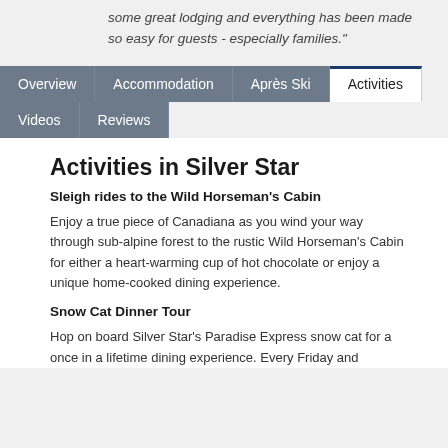some great lodging and everything has been made so easy for guests - especially families."
[Figure (screenshot): Navigation tab bar with tabs: Overview, Accommodation, Après Ski, Activities (active/selected), Videos, Reviews]
Activities in Silver Star
Sleigh rides to the Wild Horseman's Cabin
Enjoy a true piece of Canadiana as you wind your way through sub-alpine forest to the rustic Wild Horseman's Cabin for either a heart-warming cup of hot chocolate or enjoy a unique home-cooked dining experience.
Snow Cat Dinner Tour
Hop on board Silver Star's Paradise Express snow cat for a once in a lifetime dining experience. Every Friday and